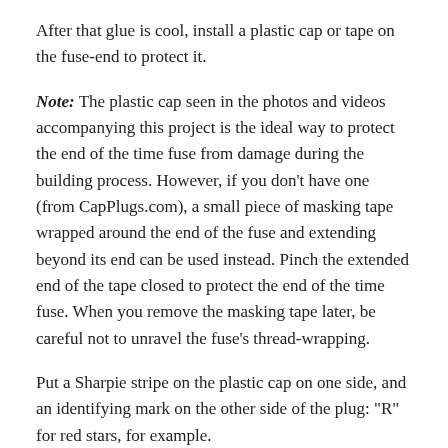After that glue is cool, install a plastic cap or tape on the fuse-end to protect it.
Note: The plastic cap seen in the photos and videos accompanying this project is the ideal way to protect the end of the time fuse from damage during the building process. However, if you don't have one (from CapPlugs.com), a small piece of masking tape wrapped around the end of the fuse and extending beyond its end can be used instead. Pinch the extended end of the tape closed to protect the end of the time fuse. When you remove the masking tape later, be careful not to unravel the fuse's thread-wrapping.
Put a Sharpie stripe on the plastic cap on one side, and an identifying mark on the other side of the plug: "R" for red stars, for example.